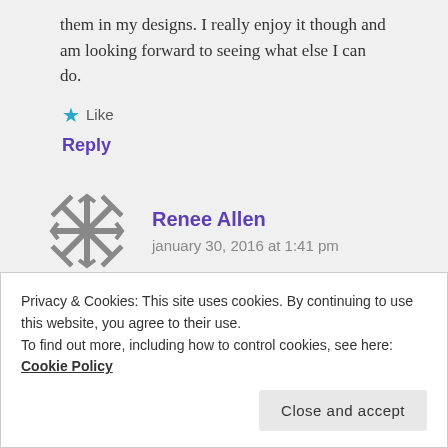them in my designs. I really enjoy it though and am looking forward to seeing what else I can do.
Like
Reply
[Figure (logo): Geometric star/snowflake avatar icon in dark gray for Renee Allen]
Renee Allen
january 30, 2016 at 1:41 pm
Privacy & Cookies: This site uses cookies. By continuing to use this website, you agree to their use. To find out more, including how to control cookies, see here: Cookie Policy
Close and accept